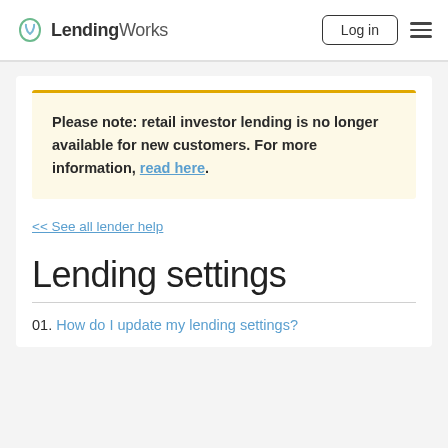LendingWorks | Log in
Please note: retail investor lending is no longer available for new customers. For more information, read here.
<< See all lender help
Lending settings
01. How do I update my lending settings?